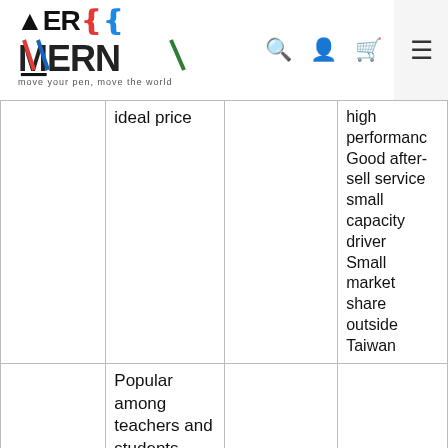[Figure (logo): MERN logo with tagline 'move your pen, move the world']
| Brand | Description | Price | Notes |
| --- | --- | --- | --- |
|  | ideal price |  | high performance Good after-sell service small capacity driver Small market share outside Taiwan |
|  | Popular among teachers and students |  |  |
| HUION（China） | Graphic tablet with ideal price | 9939~22900 NTD | Small market share outside Taiwan |
|  | Simple appearance |  |  |
| Viewsonic | Monitor | 4000~10000 | Small size |